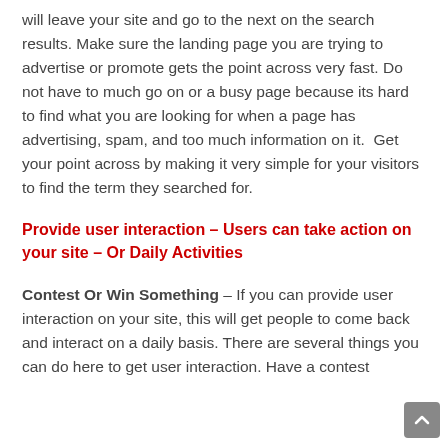will leave your site and go to the next on the search results. Make sure the landing page you are trying to advertise or promote gets the point across very fast. Do not have to much go on or a busy page because its hard to find what you are looking for when a page has advertising, spam, and too much information on it.  Get your point across by making it very simple for your visitors to find the term they searched for.
Provide user interaction – Users can take action on your site – Or Daily Activities
Contest Or Win Something – If you can provide user interaction on your site, this will get people to come back and interact on a daily basis. There are several things you can do here to get user interaction. Have a contest